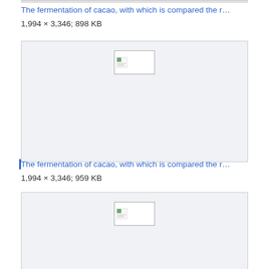The fermentation of cacao, with which is compared the r…
1,994 × 3,346; 898 KB
[Figure (other): Broken/placeholder image thumbnail for a scanned document page]
The fermentation of cacao, with which is compared the r…
1,994 × 3,346; 959 KB
[Figure (other): Broken/placeholder image thumbnail for a scanned document page]